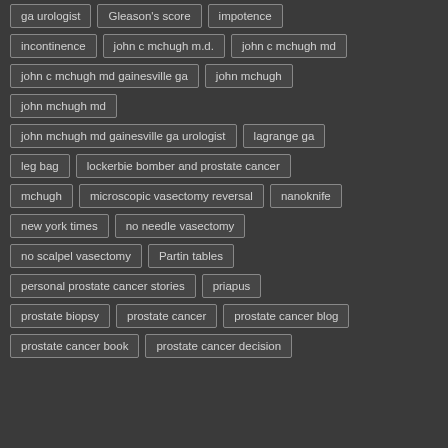ga urologist
Gleason's score
impotence
incontinence
john c mchugh m.d.
john c mchugh md
john c mchugh md gainesville ga
john mchugh
john mchugh md
john mchugh md gainesville ga urologist
lagrange ga
leg bag
lockerbie bomber and prostate cancer
mchugh
microscopic vasectomy reversal
nanoknife
new york times
no needle vasectomy
no scalpel vasectomy
Partin tables
personal prostate cancer stories
priapus
prostate biopsy
prostate cancer
prostate cancer blog
prostate cancer book
prostate cancer decision